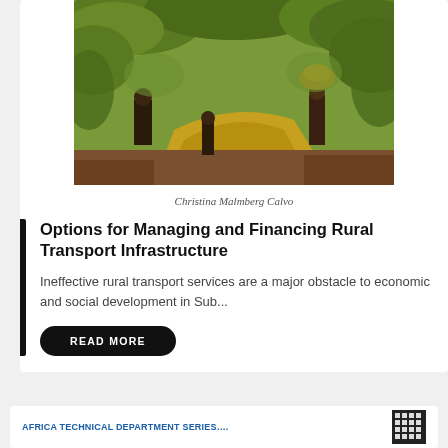[Figure (photo): Rural African scene showing people on a muddy dirt road surrounded by vegetation, carrying loads on their heads]
Christina Malmberg Calvo
Options for Managing and Financing Rural Transport Infrastructure
Ineffective rural transport services are a major obstacle to economic and social development in Sub...
READ MORE
[Figure (logo): Africa Technical Department Series logo and grid emblem at bottom of page]